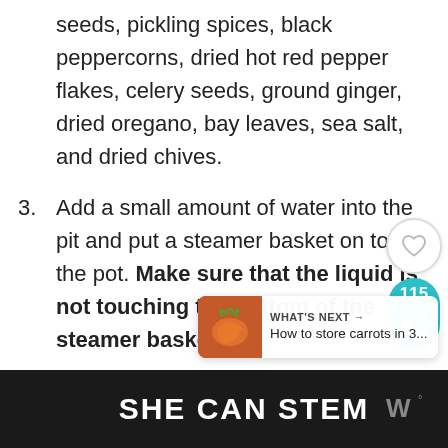seeds, pickling spices, black peppercorns, dried hot red pepper flakes, celery seeds, ground ginger, dried oregano, bay leaves, sea salt, and dried chives.
3. Add a small amount of water into the pit and put a steamer basket on top of the pot. Make sure that the liquid is not touching the bottom of the steamer basket.
4. Bring the mixture of spices and water to a boil.
[Figure (other): What's Next overlay with carrot image: 'WHAT'S NEXT → How to store carrots in 3...']
SHE CAN STEM